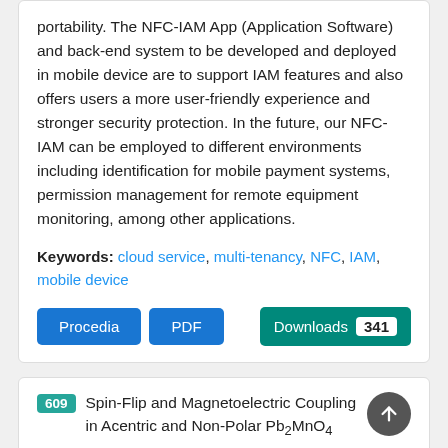portability. The NFC-IAM App (Application Software) and back-end system to be developed and deployed in mobile device are to support IAM features and also offers users a more user-friendly experience and stronger security protection. In the future, our NFC-IAM can be employed to different environments including identification for mobile payment systems, permission management for remote equipment monitoring, among other applications.
Keywords: cloud service, multi-tenancy, NFC, IAM, mobile device
Procedia | PDF | Downloads 341
609 Spin-Flip and Magnetoelectric Coupling in Acentric and Non-Polar Pb2MnO4